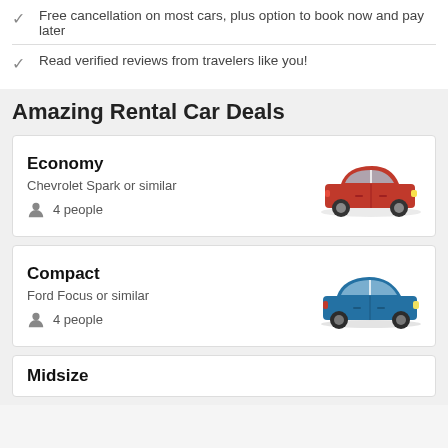Free cancellation on most cars, plus option to book now and pay later
Read verified reviews from travelers like you!
Amazing Rental Car Deals
Economy
Chevrolet Spark or similar
4 people
Compact
Ford Focus or similar
4 people
Midsize